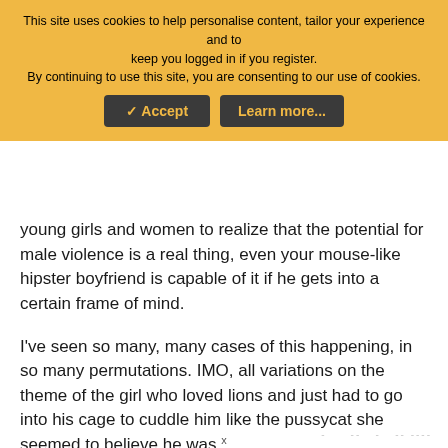[Figure (screenshot): Cookie consent banner with orange/amber background, text about cookies, and two dark buttons: Accept and Learn more...]
young girls and women to realize that the potential for male violence is a real thing, even your mouse-like hipster boyfriend is capable of it if he gets into a certain frame of mind.
I've seen so many, many cases of this happening, in so many permutations. IMO, all variations on the theme of the girl who loved lions and just had to go into his cage to cuddle him like the pussycat she seemed to believe he was.
ETA: just to add, the solution in the past was for families to keep women close and vet their choice of partner, but I don't think we can return to those days.